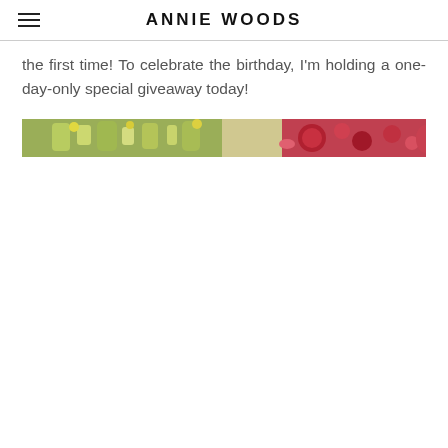ANNIE WOODS
the first time! To celebrate the birthday, I'm holding a one-day-only special giveaway today!
[Figure (photo): A horizontal strip photo showing yellow-green flowers on the left and red roses/petals on the right against a light background.]